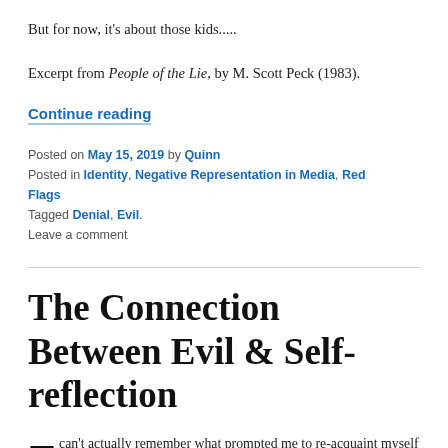But for now, it's about those kids.....
Excerpt from People of the Lie, by M. Scott Peck (1983).
Continue reading
Posted on May 15, 2019 by Quinn
Posted in Identity, Negative Representation in Media, Red Flags
Tagged Denial, Evil.
Leave a comment
The Connection Between Evil & Self-reflection
I can't actually remember what prompted me to re-acquaint myself with a handful of the